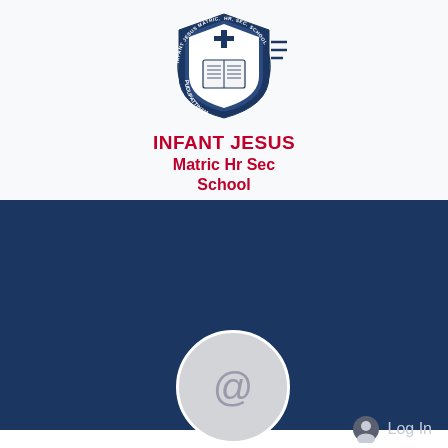[Figure (logo): Infant Jesus Matric Hr Sec School shield logo with cross, open book, and circular text reading INFANT JESUS MATRIC. HR. SEC. SCHOOL PUDUPATTINAM]
INFANT JESUS
Matric Hr Sec
School
[Figure (screenshot): Dark navy blue banner section of a social media or school website profile page, showing Log In link with user icon at top right, a Follow button and three-dot menu at bottom right, and a circular profile avatar with @ symbol on the left]
@#FREE-WORKING#@- [G
0 Followers • 0 Following